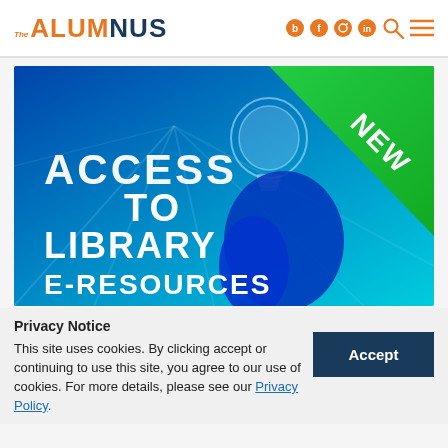The ALUMNUS
[Figure (illustration): Banner image with a blue-toned photo of a hand holding a light bulb, with text 'ACCESS TO LIBRARY E-RESOURCES' and a green 'NEW' ribbon in the top-right corner.]
Privacy Notice
This site uses cookies. By clicking accept or continuing to use this site, you agree to our use of cookies. For more details, please see our Privacy Policy.